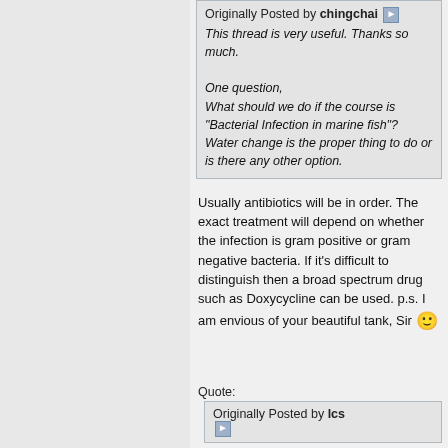Originally Posted by chingchai
This thread is very useful. Thanks so much.

One question,
What should we do if the course is "Bacterial Infection in marine fish"? Water change is the proper thing to do or is there any other option.
Usually antibiotics will be in order. The exact treatment will depend on whether the infection is gram positive or gram negative bacteria. If it's difficult to distinguish then a broad spectrum drug such as Doxycycline can be used. p.s. I am envious of your beautiful tank, Sir 🙂
Quote:
Originally Posted by lcs